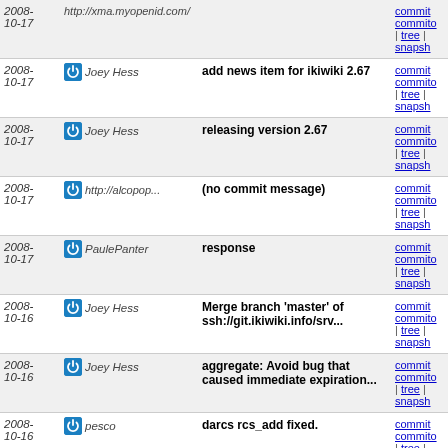| Date | Author | Message | Links |
| --- | --- | --- | --- |
| 2008-10-17 | http://xma.myopenid.com/ | (top row partial) | commit | commitdiff | tree | snapshot |
| 2008-10-17 | Joey Hess | add news item for ikiwiki 2.67 | commit | commitdiff | tree | snapshot |
| 2008-10-17 | Joey Hess | releasing version 2.67 | commit | commitdiff | tree | snapshot |
| 2008-10-17 | http://alcopop... | (no commit message) | commit | commitdiff | tree | snapshot |
| 2008-10-17 | PaulePanter | response | commit | commitdiff | tree | snapshot |
| 2008-10-16 | Joey Hess | Merge branch 'master' of ssh://git.ikiwiki.info/srv... | commit | commitdiff | tree | snapshot |
| 2008-10-16 | Joey Hess | aggregate: Avoid bug that caused immediate expiration... | commit | commitdiff | tree | snapshot |
| 2008-10-16 | pesco | darcs rcs_add fixed. | commit | commitdiff | tree | snapshot |
| 2008-10-16 | http://xma.myopenid.com/ | That's good news for me then ! Thank you. | commit | commitdiff | tree | snapshot |
| 2008-10-16 | Joey Hess | response | commit | commitdiff | tree | snapshot |
| 2008-10-16 | Joey Hess | response | commit | commitdiff | tree | snapshot |